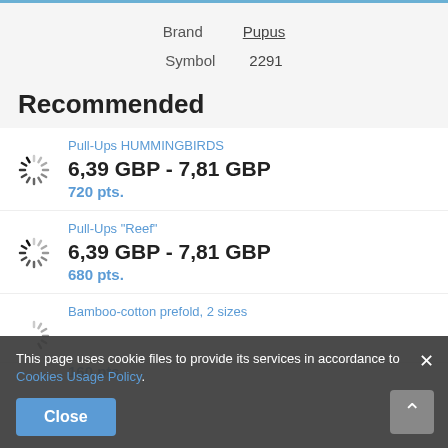|  |  |
| --- | --- |
| Brand | Pupus |
| Symbol | 2291 |
Recommended
Pull-Ups HUMMINGBIRDS
6,39 GBP - 7,81 GBP
720 pts.
Pull-Ups "Reef"
6,39 GBP - 7,81 GBP
680 pts.
Bamboo-cotton prefold, 2 sizes
160 pts.
This page uses cookie files to provide its services in accordance to Cookies Usage Policy.